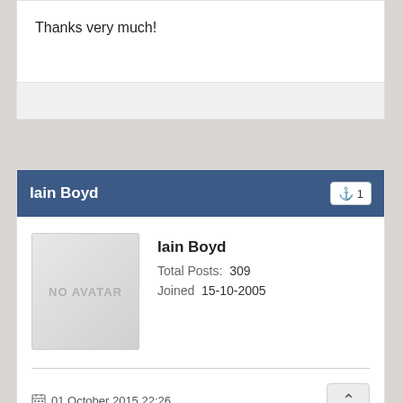Thanks very much!
Iain Boyd
[Figure (other): No avatar placeholder image for user Iain Boyd]
Iain Boyd
Total Posts: 309
Joined 15-10-2005
01 October 2015 22:26
I suppose I should have let Mike have the first word, but . .